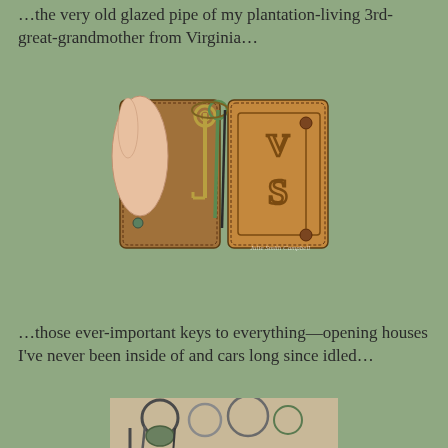…the very old glazed pipe of my plantation-living 3rd-great-grandmother from Virginia…
[Figure (photo): A hand holding open a vintage brown leather key holder/wallet with two keys (one ornate brass key, one verdigris-patinated green key) and monogrammed letters V and S tooled into the leather. Watermark reads Julie Smith Campbell.]
…those ever-important keys to everything—opening houses I've never been inside of and cars long since idled…
[Figure (photo): Close-up of a set of old keys on key rings, partially visible at the bottom of the page.]